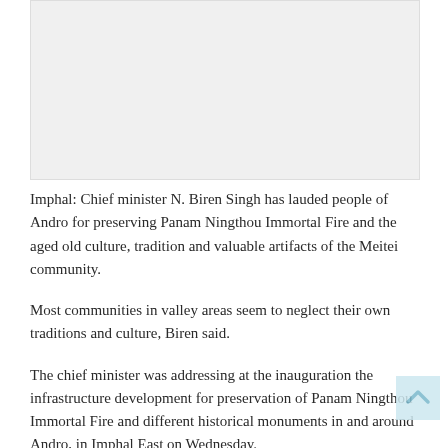[Figure (photo): Photograph placeholder at top of article]
Imphal: Chief minister N. Biren Singh has lauded people of Andro for preserving Panam Ningthou Immortal Fire and the aged old culture, tradition and valuable artifacts of the Meitei community.
Most communities in valley areas seem to neglect their own traditions and culture, Biren said.
The chief minister was addressing at the inauguration the infrastructure development for preservation of Panam Ningthou Immortal Fire and different historical monuments in and around Andro, in Imphal East on Wednesday.